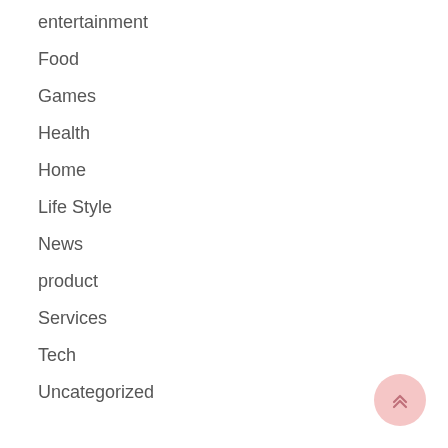entertainment
Food
Games
Health
Home
Life Style
News
product
Services
Tech
Uncategorized